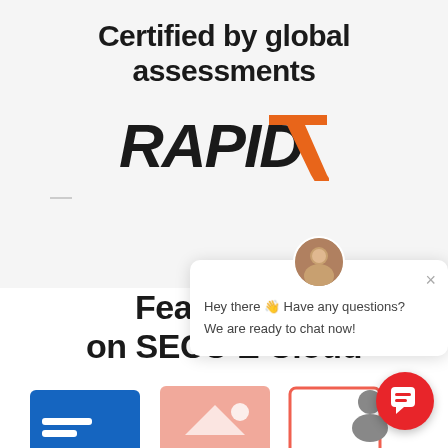Certified by global assessments
[Figure (logo): Rapid7 logo - black bold text RAPID with an orange stylized 7 arrow mark]
Features ar... on SECU E Cloud
[Figure (screenshot): Chat popup widget with avatar photo, close X button, message 'Hey there 👋 Have any questions? We are ready to chat now!' and red circular chat button with speech bubble icon]
[Figure (illustration): Bottom strip showing partial UI illustrations in blue, pink/salmon and other colors]